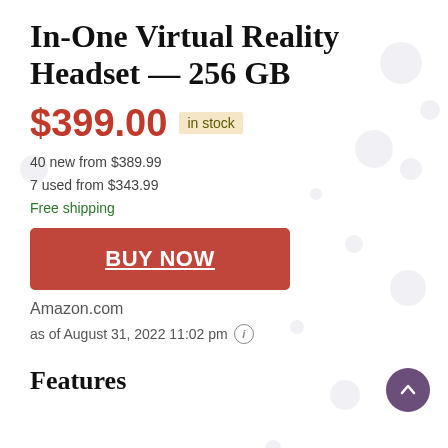In-One Virtual Reality Headset — 256 GB
$399.00  in stock
40 new from $389.99
7 used from $343.99
Free shipping
BUY NOW
Amazon.com
as of August 31, 2022 11:02 pm
Features